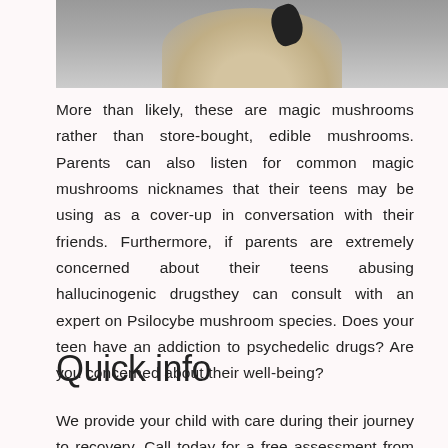[Figure (photo): Partial view of magic mushrooms, light tan/cream colored, against a grey background.]
More than likely, these are magic mushrooms rather than store-bought, edible mushrooms. Parents can also listen for common magic mushrooms nicknames that their teens may be using as a cover-up in conversation with their friends. Furthermore, if parents are extremely concerned about their teens abusing hallucinogenic drugsthey can consult with an expert on Psilocybe mushroom species. Does your teen have an addiction to psychedelic drugs? Are you concerned about their well-being?
Quick info
We provide your child with care during their journey to recovery. Call today for a free assessment from our caring team of treatment